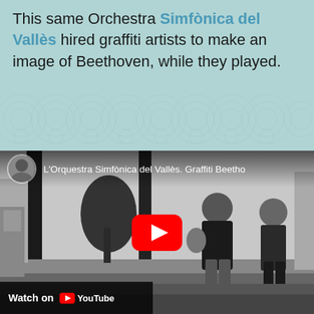This same Orchestra Simfònica del Vallès hired graffiti artists to make an image of Beethoven, while they played.
[Figure (screenshot): YouTube video thumbnail showing a black-and-white photo of two people walking on a street with musical instruments. The video title reads 'L'Orquestra Simfònica del Vallès. Graffiti Beetho...' with a YouTube play button overlay and 'Watch on YouTube' bar at the bottom.]